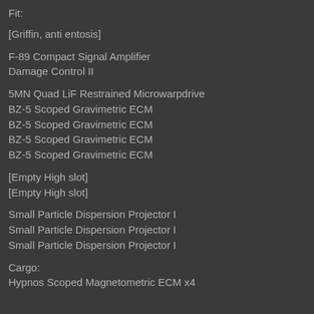Fit:
[Griffin, anti entosis]
F-89 Compact Signal Amplifier
Damage Control II
5MN Quad LiF Restrained Microwarpdrive
BZ-5 Scoped Gravimetric ECM
BZ-5 Scoped Gravimetric ECM
BZ-5 Scoped Gravimetric ECM
BZ-5 Scoped Gravimetric ECM
[Empty High slot]
[Empty High slot]
Small Particle Dispersion Projector I
Small Particle Dispersion Projector I
Small Particle Dispersion Projector I
Cargo:
Hypnos Scoped Magnetometric ECM x4